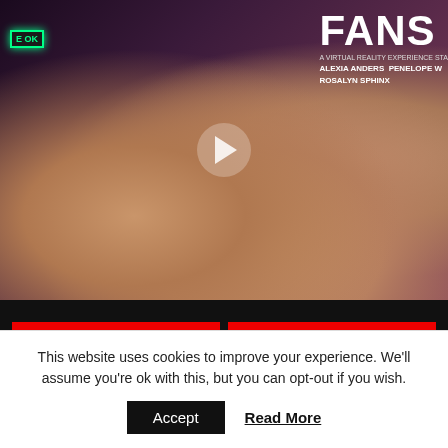[Figure (screenshot): Video thumbnail showing three women in an adult VR video titled FANS, starring Alexia Anders, Penelope W, and Rosalyn Sphinx, with a play button overlay]
WATCH FULL VIDEO
DOWNLOAD VIDEO
This website uses cookies to improve your experience. We'll assume you're ok with this, but you can opt-out if you wish.
Accept
Read More